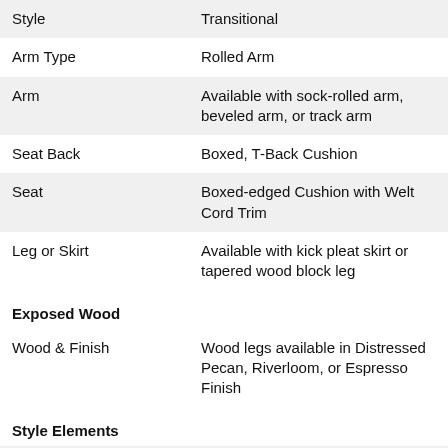| Style | Transitional |
| Arm Type | Rolled Arm |
| Arm | Available with sock-rolled arm, beveled arm, or track arm |
| Seat Back | Boxed, T-Back Cushion |
| Seat | Boxed-edged Cushion with Welt Cord Trim |
| Leg or Skirt | Available with kick pleat skirt or tapered wood block leg |
| Exposed Wood |  |
| Wood & Finish | Wood legs available in Distressed Pecan, Riverloom, or Espresso Finish |
| Style Elements |  |
|  | Exposed Wood Leg |
| Construction & Warranty |  |
| Frame | A triple-doweled and glued seat |